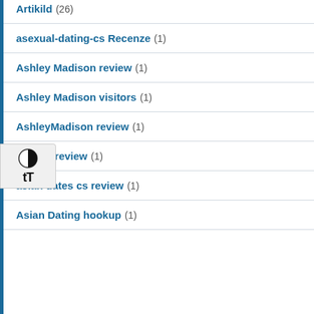Artikild (26)
asexual-dating-cs Recenze (1)
Ashley Madison review (1)
Ashley Madison visitors (1)
AshleyMadison review (1)
asiame review (1)
asian dates cs review (1)
Asian Dating hookup (1)